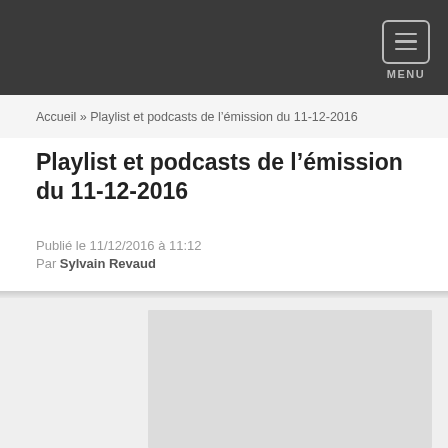MENU
Accueil » Playlist et podcasts de l'émission du 11-12-2016
Playlist et podcasts de l'émission du 11-12-2016
Publié le 11/12/2016 à 11:12
Par Sylvain Revaud
[Figure (photo): Placeholder image area, light gray rectangle]